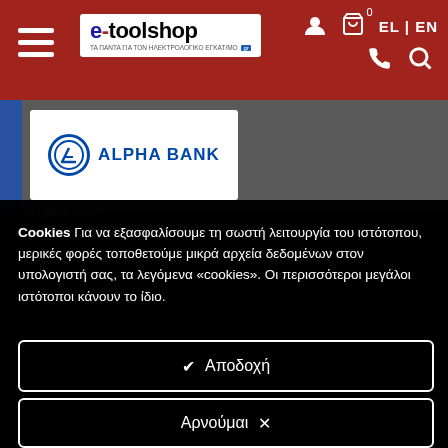[Figure (screenshot): e-toolshop website header with red background, hamburger menu, logo, user/cart icons, language switcher EL|EN, phone and search icons]
[Figure (logo): ALPHA BANK logo with blue circular icon and blue text on white background]
ALPHA bank
Αριθμός Λογ/σμού: 151-002002-2010530
Cookies Για να εξασφαλίσουμε τη σωστή λειτουργία του ιστότοπου, μερικές φορές τοποθετούμε μικρά αρχεία δεδομένων στον υπολογιστή σας, τα λεγόμενα «cookies». Οι περισσότεροι μεγάλοι ιστότοποι κάνουν το ίδιο.
✔  Αποδοχή
Αρνούμαι ✕